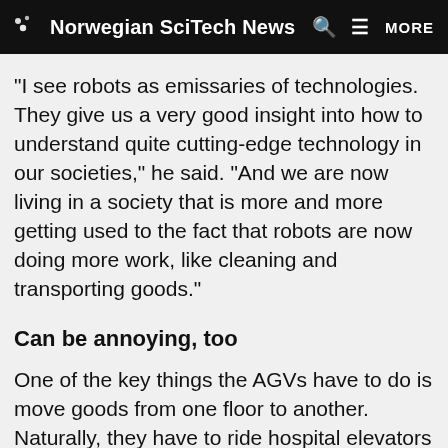Norwegian SciTech News MORE
"I see robots as emissaries of technologies. They give us a very good insight into how to understand quite cutting-edge technology in our societies," he said. "And we are now living in a society that is more and more getting used to the fact that robots are now doing more work, like cleaning and transporting goods."
Can be annoying, too
One of the key things the AGVs have to do is move goods from one floor to another. Naturally, they have to ride hospital elevators to do their job – much to the annoyance of some of the nursing staff, who have to compete with the robots to use the elevators.